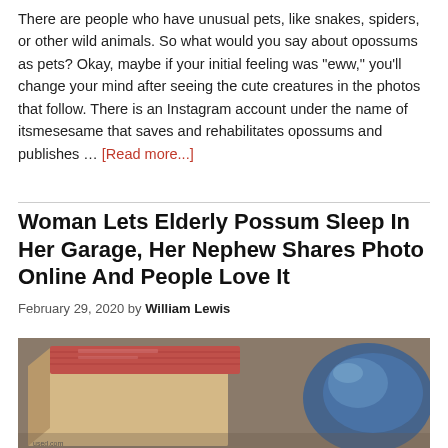There are people who have unusual pets, like snakes, spiders, or other wild animals. So what would you say about opossums as pets? Okay, maybe if your initial feeling was "eww," you'll change your mind after seeing the cute creatures in the photos that follow. There is an Instagram account under the name of itsmesesame that saves and rehabilitates opossums and publishes … [Read more...]
Woman Lets Elderly Possum Sleep In Her Garage, Her Nephew Shares Photo Online And People Love It
February 29, 2020 by William Lewis
[Figure (photo): A cardboard box with a red-patterned lid/card visible, some items to the right including what appears to be a blue plastic bag, in a garage setting.]